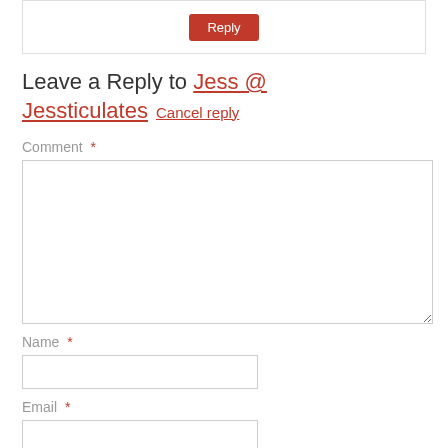[Figure (screenshot): Reply button in a bordered box at top of page]
Leave a Reply to Jess @ Jessticulates Cancel reply
Comment *
[Figure (screenshot): Comment textarea input box]
Name *
[Figure (screenshot): Name text input box]
Email *
[Figure (screenshot): Email text input box]